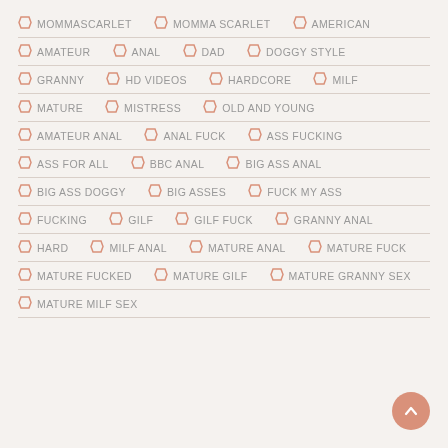MOMMASCARLET | MOMMA SCARLET | AMERICAN
AMATEUR | ANAL | DAD | DOGGY STYLE
GRANNY | HD VIDEOS | HARDCORE | MILF
MATURE | MISTRESS | OLD AND YOUNG
AMATEUR ANAL | ANAL FUCK | ASS FUCKING
ASS FOR ALL | BBC ANAL | BIG ASS ANAL
BIG ASS DOGGY | BIG ASSES | FUCK MY ASS
FUCKING | GILF | GILF FUCK | GRANNY ANAL
HARD | MILF ANAL | MATURE ANAL | MATURE FUCK
MATURE FUCKED | MATURE GILF | MATURE GRANNY SEX
MATURE MILF SEX